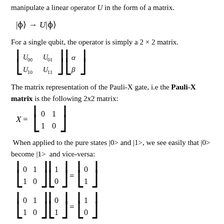manipulate a linear operator U in the form of a matrix.
For a single qubit, the operator is simply a 2 × 2 matrix.
The matrix representation of the Pauli-X gate, i.e the Pauli-X matrix is the following 2x2 matrix:
When applied to the pure states |0> and |1>, we see easily that |0> become |1> and vice-versa: